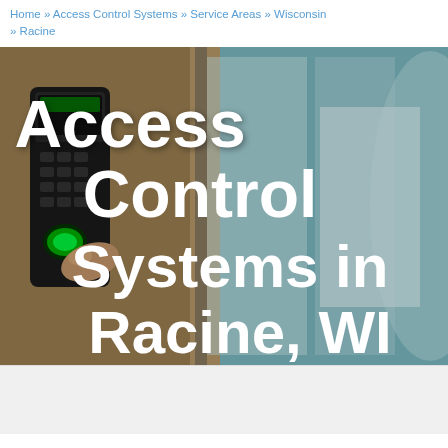Home » Access Control Systems » Service Areas » Wisconsin » Racine
[Figure (photo): A hand holding a keycard near a biometric access control keypad mounted on a wall next to a glass door, with a bright hallway visible in the background. White bold text overlaid reads 'Access Control Systems in Racine, WI'.]